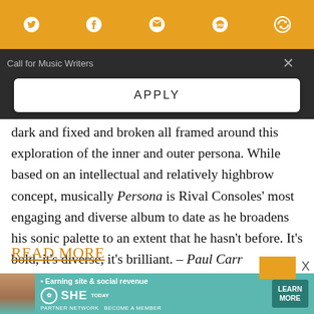[Figure (screenshot): Orange social sharing toolbar with Twitter, Facebook, email, SMS, and refresh icons in white on orange background]
Call for Music Writers
APPLY
dark and fixed and broken all framed around this exploration of the inner and outer persona. While based on an intellectual and relatively highbrow concept, musically Persona is Rival Consoles' most engaging and diverse album to date as he broadens his sonic palette to an extent that he hasn't before. It's bold, it's diverse, it's brilliant. – Paul Carr
READ MORE
[Figure (screenshot): SHE Partner Network advertisement banner - Earning site & social revenue, teal background with woman photo, LEARN MORE button]